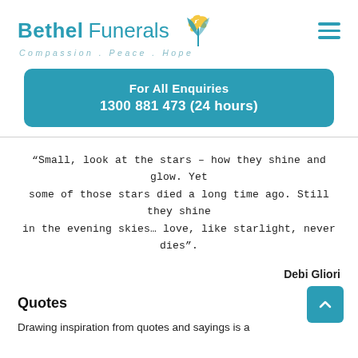Bethel Funerals — Compassion . Peace . Hope
For All Enquiries
1300 881 473 (24 hours)
“Small, look at the stars – how they shine and glow. Yet some of those stars died a long time ago. Still they shine in the evening skies… love, like starlight, never dies”.
Debi Gliori
Quotes
Drawing inspiration from quotes and sayings is a meaningful way to commemorate a loved one...